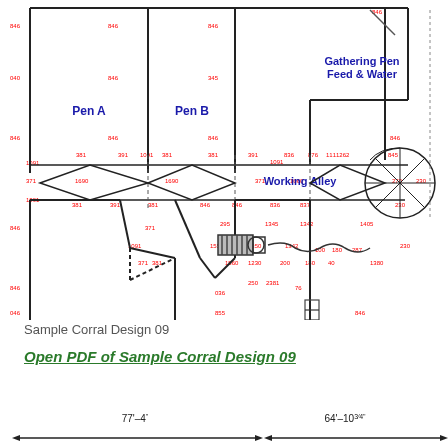[Figure (engineering-diagram): Cattle corral floor plan showing Pen A, Pen B, Pen C, Pen D, Gathering Pen Feed & Water, Working Alley, with dimension annotations in red and structural lines in black. Includes squeeze chute, circular sort area, and alley system.]
Sample Corral Design 09
Open PDF of Sample Corral Design 09
[Figure (engineering-diagram): Dimension arrows at bottom showing 77'-4" and 64'-10 3/4" measurements with scale bar.]